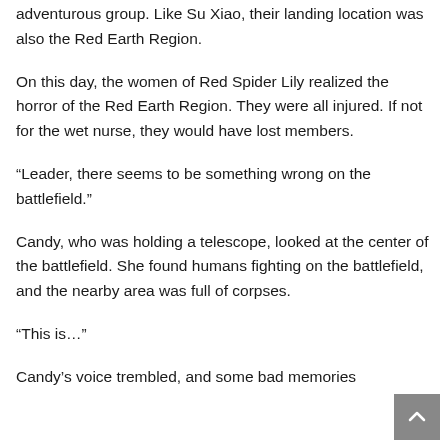adventurous group. Like Su Xiao, their landing location was also the Red Earth Region.
On this day, the women of Red Spider Lily realized the horror of the Red Earth Region. They were all injured. If not for the wet nurse, they would have lost members.
“Leader, there seems to be something wrong on the battlefield.”
Candy, who was holding a telescope, looked at the center of the battlefield. She found humans fighting on the battlefield, and the nearby area was full of corpses.
“This is…”
Candy’s voice trembled, and some bad memories